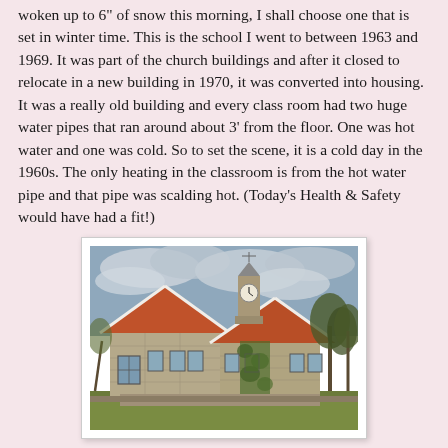woken up to 6" of snow this morning, I shall choose one that is set in winter time.  This is the school I went to between 1963 and 1969.  It was part of the church buildings and after it closed to relocate in a new building in 1970, it was converted into housing.  It was a really old building and every class room had two huge water pipes that ran around about 3' from the floor.  One was hot water and one was cold.  So to set the scene, it is a cold day in the 1960s.  The only heating in the classroom is from the hot water pipe and that pipe was scalding hot.  (Today's Health & Safety would have had a fit!)
[Figure (photo): A stone church-style school building with steeply pitched gabled roofs, a small clock tower, ivy-covered walls, and surrounding bare winter trees under a cloudy sky.]
Mrs Bishop:  Michael Cheeseman!  Stop balancing on the back